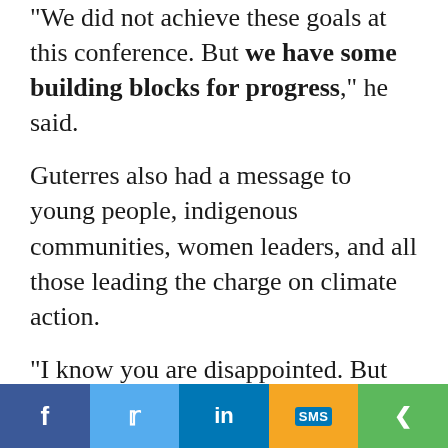“We did not achieve these goals at this conference. But we have some building blocks for progress,” he said.
Guterres also had a message to young people, indigenous communities, women leaders, and all those leading the charge on climate action.
“I know you are disappointed. But the path of progress is not always a straight line. Sometimes there are detours. Sometimes there are ditches. But I know we can get there. We are in the fight of
[Figure (other): Social share bar with Facebook, Twitter, LinkedIn, SMS, and share buttons]